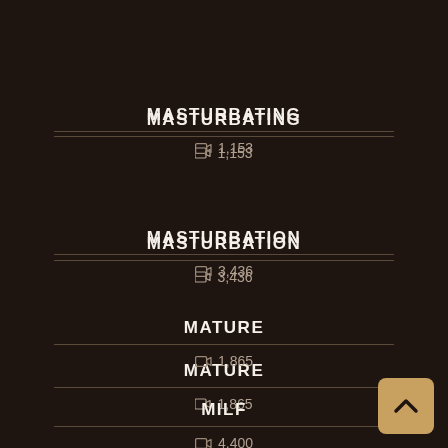MASTURBATING — 1,153 videos
MASTURBATION — 3,436 videos
MATURE — 1,865 videos
MILF — 4,400 videos